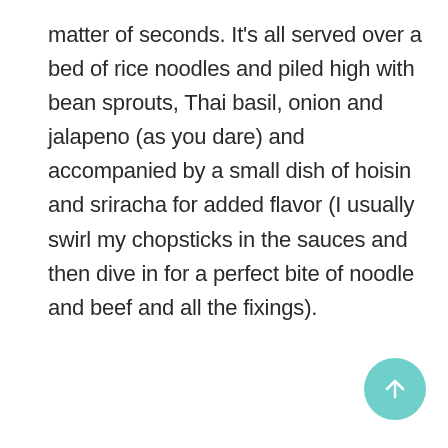matter of seconds. It’s all served over a bed of rice noodles and piled high with bean sprouts, Thai basil, onion and jalapeno (as you dare) and accompanied by a small dish of hoisin and sriracha for added flavor (I usually swirl my chopsticks in the sauces and then dive in for a perfect bite of noodle and beef and all the fixings).
ADVERTISEMENT
[Figure (other): Advertisement placeholder box with light gray background]